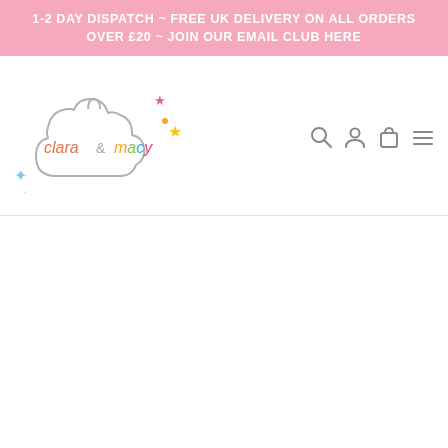1-2 DAY DISPATCH ~ FREE UK DELIVERY ON ALL ORDERS OVER £20 ~ JOIN OUR EMAIL CLUB HERE
[Figure (logo): Clara & Macy logo: a cloud outline with colorful script text 'clara & macy' inside, decorated with small stars in pink, yellow, and blue]
[Figure (other): Navigation icons: search magnifying glass, user account person, shopping bag, and hamburger menu lines]